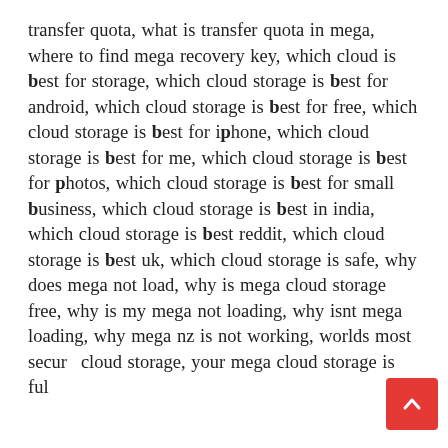transfer quota, what is transfer quota in mega, where to find mega recovery key, which cloud is best for storage, which cloud storage is best for android, which cloud storage is best for free, which cloud storage is best for iphone, which cloud storage is best for me, which cloud storage is best for photos, which cloud storage is best for small business, which cloud storage is best in india, which cloud storage is best reddit, which cloud storage is best uk, which cloud storage is safe, why does mega not load, why is mega cloud storage free, why is my mega not loading, why isnt mega loading, why mega nz is not working, worlds most secure cloud storage, your mega cloud storage is full